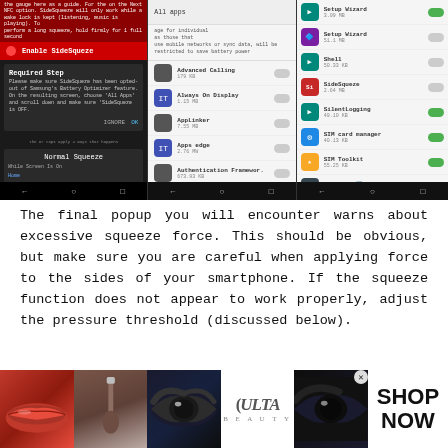[Figure (screenshot): Three smartphone screenshots showing SideSqueeze app setup: left screen shows Enable SideSqueze dialog with Required Step popup; middle screen shows All Apps list with app entries (Advanced Calling, Always On Display, AppLinker, Apps edge, Authentication Framewor., Baby Home) with toggles; right screen shows apps list with Setup Wizard, Setup Wizard, Shell, SideSqueeze, SilentLogging, SIM card manager, SIM Toolkit, SiriusXM entries with blue toggles]
The final popup you will encounter warns about excessive squeeze force. This should be obvious, but make sure you are careful when applying force to the sides of your smartphone. If the squeeze function does not appear to work properly, adjust the pressure threshold (discussed below).
[Figure (advertisement): Ulta Beauty advertisement banner with makeup images (lips, brush, eye, Ulta logo, eye closeup) and SHOP NOW call to action]